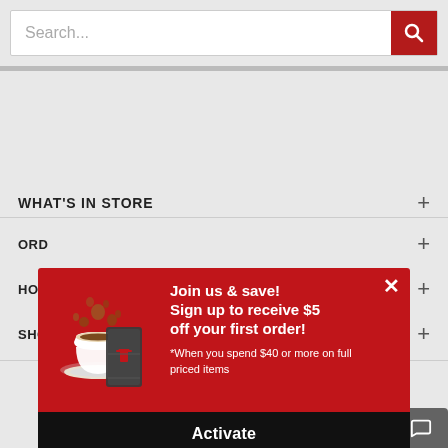Search...
WHAT'S IN STORE
ORD
HOW
SHO
[Figure (screenshot): Promotional popup with red background, coffee cup image, and text: Join us & save! Sign up to receive $5 off your first order! *When you spend $40 or more on full priced items. Activate button.]
2015 - © 2022 Alternative Brewing. All Rights Reserved
Chat now